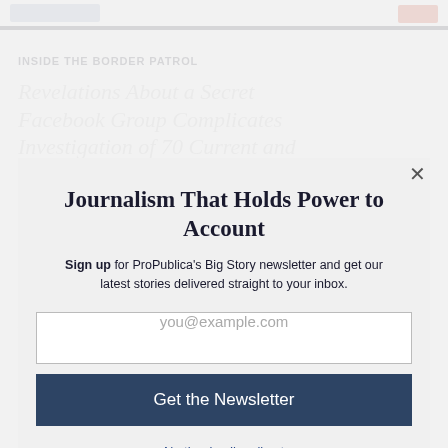INSIDE THE BORDER PATROL
Revelations About a Secret Facebook Group Investigation of 70 Current and Former Employees
Journalism That Holds Power to Account
Sign up for ProPublica's Big Story newsletter and get our latest stories delivered straight to your inbox.
you@example.com
Get the Newsletter
No thanks, I'm all set
This site is protected by reCAPTCHA and the Google Privacy Policy and Terms of Service apply.